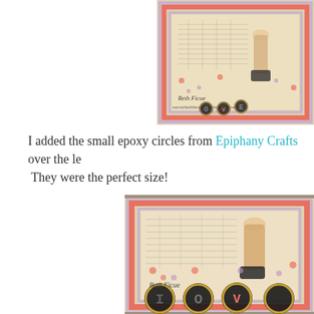[Figure (photo): Close-up photo of a handmade craft card with vintage-style design, showing decorative borders in salmon/coral and lavender, polka dots, a leg/stocking stamp image, and epoxy circle letter embellishments spelling 'LOVE'. Signed 'Beth Ficue' with blog URL 'nursiebethbeauties.blogspot.com'.]
I added the small epoxy circles from Epiphany Crafts over the le… They were the perfect size!
[Figure (photo): Larger close-up photo of the same handmade craft card showing the epoxy circle letter embellishments more clearly, with letters 'I', 'O', 'V' visible in typewriter-key style dark circles with gold rims. The card has coral/salmon and lavender borders with vintage ephemera background including a measurement chart and leg illustration. Signed 'Beth Ficue'.]